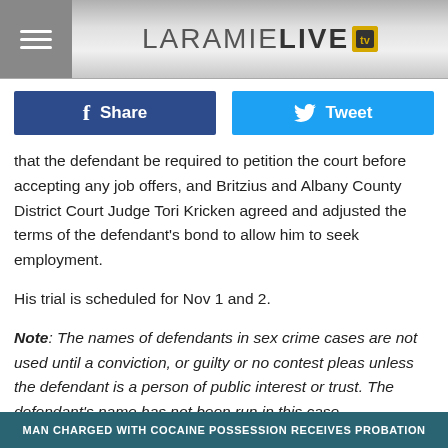LARAMIELIVE
that the defendant be required to petition the court before accepting any job offers, and Britzius and Albany County District Court Judge Tori Kricken agreed and adjusted the terms of the defendant's bond to allow him to seek employment.
His trial is scheduled for Nov 1 and 2.
Note: The names of defendants in sex crime cases are not used until a conviction, or guilty or no contest pleas unless the defendant is a person of public interest or trust. The defendant's name has not been run in this case.
MAN CHARGED WITH COCAINE POSSESSION RECEIVES PROBATION